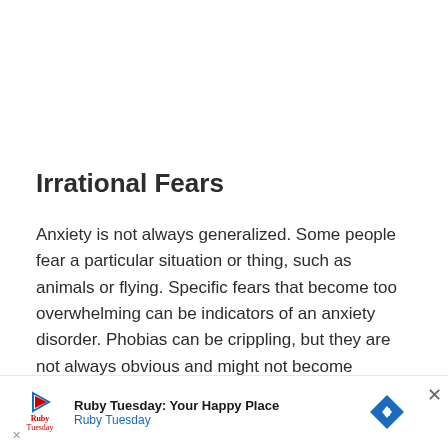Irrational Fears
Anxiety is not always generalized. Some people fear a particular situation or thing, such as animals or flying. Specific fears that become too overwhelming can be indicators of an anxiety disorder. Phobias can be crippling, but they are not always obvious and might not become apparent until the person faces a specific situation. For instance, one could be unaware they have a fear of snakes until they encounter one.
[Figure (other): Advertisement banner for Ruby Tuesday restaurant: 'Ruby Tuesday: Your Happy Place' with logo, play button icon, and blue diamond arrow icon.]